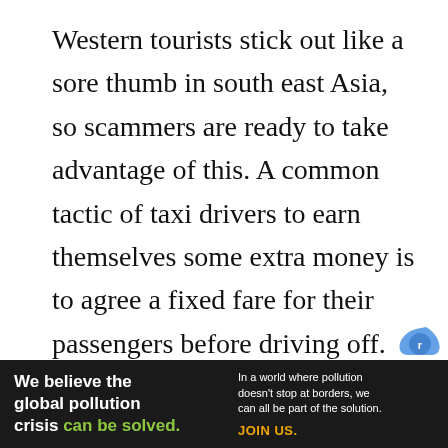Western tourists stick out like a sore thumb in south east Asia, so scammers are ready to take advantage of this. A common tactic of taxi drivers to earn themselves some extra money is to agree a fixed fare for their passengers before driving off. Invariably, this is a ludicrously inflated price, which a tourist that's new in town is unlikely to realise, and therefore agree to, especially if they've come straight off a 9 hour flight and want noth
[Figure (other): reCAPTCHA logo in bottom right corner]
[Figure (other): Advertisement banner: Pure Earth - We believe the global pollution crisis can be solved. In a world where pollution doesn't stop at borders, we can all be part of the solution. JOIN US.]